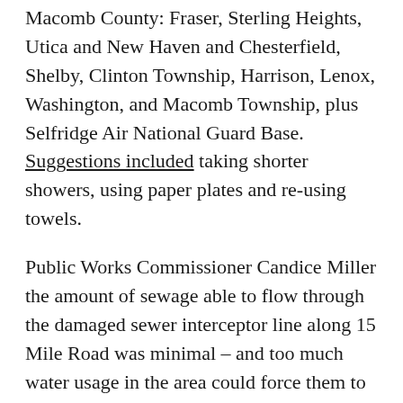Macomb County: Fraser, Sterling Heights, Utica and New Haven and Chesterfield, Shelby, Clinton Township, Harrison, Lenox, Washington, and Macomb Township, plus Selfridge Air National Guard Base. Suggestions included taking shorter showers, using paper plates and re-using towels.
Public Works Commissioner Candice Miller the amount of sewage able to flow through the damaged sewer interceptor line along 15 Mile Road was minimal – and too much water usage in the area could force them to pump raw sewage into the Clinton River.
Miller said work is continuing around the clock to install pipes and divert the flow, fixing the problem. She expects that to take about a month.